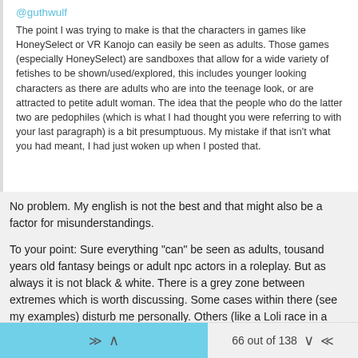@guthwulf
The point I was trying to make is that the characters in games like HoneySelect or VR Kanojo can easily be seen as adults. Those games (especially HoneySelect) are sandboxes that allow for a wide variety of fetishes to be shown/used/explored, this includes younger looking characters as there are adults who are into the teenage look, or are attracted to petite adult woman. The idea that the people who do the latter two are pedophiles (which is what I had thought you were referring to with your last paragraph) is a bit presumptuous. My mistake if that isn't what you had meant, I had just woken up when I posted that.
No problem. My english is not the best and that might also be a factor for misunderstandings.
To your point: Sure everything "can" be seen as adults, tousand years old fantasy beings or adult npc actors in a roleplay. But as always it is not black & white. There is a grey zone between extremes which is worth discussing. Some cases within there (see my examples) disturb me personally. Others (like a Loli race in a fantasy rpg or young looking characters in something like a waifu collector) I find totally fine. The difference for me is the received "message" (of the game)
66 out of 138